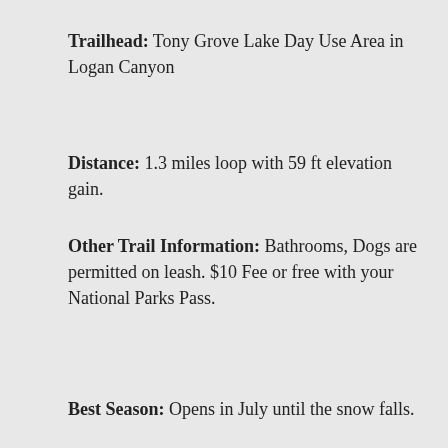Trailhead: Tony Grove Lake Day Use Area in Logan Canyon
Distance: 1.3 miles loop with 59 ft elevation gain.
Other Trail Information: Bathrooms, Dogs are permitted on leash. $10 Fee or free with your National Parks Pass.
Best Season: Opens in July until the snow falls.
Moonshine Arch
Advertisements